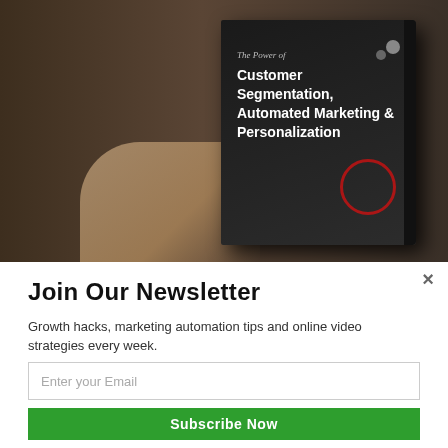[Figure (photo): Background image of a person using a smartphone/earphones with a book overlay showing 'The Power of Customer Segmentation, Automated Marketing & Personalization']
Join Our Newsletter
Growth hacks, marketing automation tips and online video strategies every week.
Enter your Email
Subscribe Now